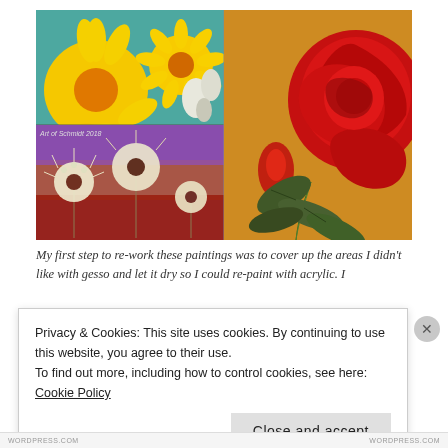[Figure (illustration): Two paintings side by side. Left: a 2x2 collage of flower paintings — top left shows yellow sunflowers on teal background, top right shows white flowers on blue background, bottom left and right show white dandelion seed heads against a purple/orange/red sunset sky. Text 'Art of Schmidt 2018' visible bottom-left. Right: a red rose painting on an orange/tan background with green stem and dark leaves.]
My first step to re-work these paintings was to cover up the areas I didn't like with gesso and let it dry so I could re-paint with acrylic. I
Privacy & Cookies: This site uses cookies. By continuing to use this website, you agree to their use.
To find out more, including how to control cookies, see here: Cookie Policy